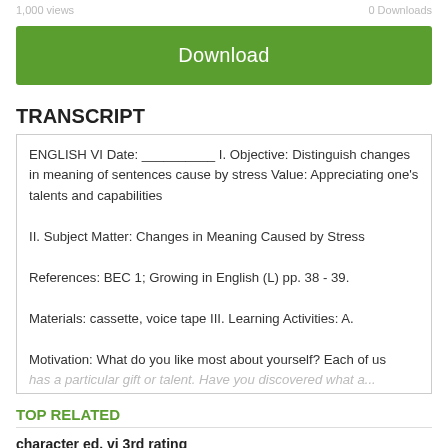1,000 views   0 Downloads
Download
TRANSCRIPT
ENGLISH VI Date: __________ I. Objective: Distinguish changes in meaning of sentences cause by stress Value: Appreciating one's talents and capabilities II. Subject Matter: Changes in Meaning Caused by Stress References: BEC 1; Growing in English (L) pp. 38 - 39. Materials: cassette, voice tape III. Learning Activities: A. Motivation: What do you like most about yourself? Each of us has a particular gift or talent. Have you discovered what a...
TOP RELATED
character ed. vi 3rd rating
Documents